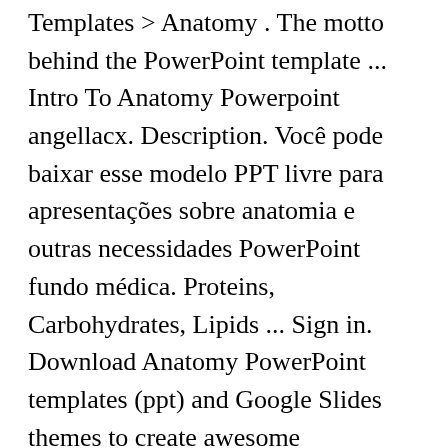Templates > Anatomy . The motto behind the PowerPoint template ... Intro To Anatomy Powerpoint angellacx. Description. Você pode baixar esse modelo PPT livre para apresentações sobre anatomia e outras necessidades PowerPoint fundo médica. Proteins, Carbohydrates, Lipids ... Sign in. Download Anatomy PowerPoint templates (ppt) and Google Slides themes to create awesome presentations. This is one of the most universal template created by the best designers of the company SmileTemplates. ... PowerPoint modelo Anatomy é um modelo médico gratuito PPT com esqueleto no design slide. Download Anatomy for the Artist |